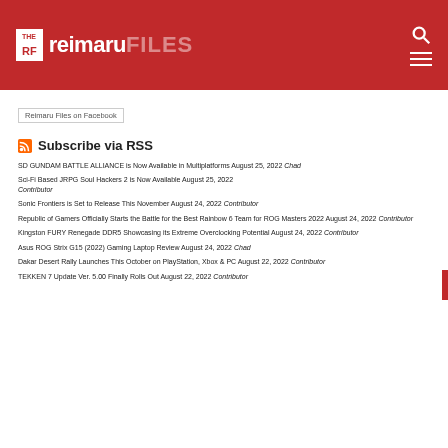The Reimaru Files
Reimaru Files on Facebook
Subscribe via RSS
SD GUNDAM BATTLE ALLIANCE is Now Available in Multiplatforms August 25, 2022 Chad
Sci-Fi Based JRPG Soul Hackers 2 is Now Available August 25, 2022 Contributor
Sonic Frontiers is Set to Release This November August 24, 2022 Contributor
Republic of Gamers Officially Starts the Battle for the Best Rainbow 6 Team for ROG Masters 2022 August 24, 2022 Contributor
Kingston FURY Renegade DDR5 Showcasing its Extreme Overclocking Potential August 24, 2022 Contributor
Asus ROG Strix G15 (2022) Gaming Laptop Review August 24, 2022 Chad
Dakar Desert Rally Launches This October on PlayStation, Xbox & PC August 22, 2022 Contributor
TEKKEN 7 Update Ver. 5.00 Finally Rolls Out August 22, 2022 Contributor